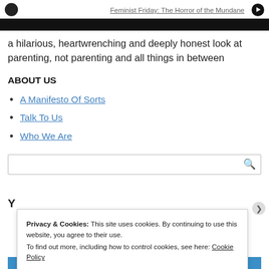Feminist Friday: The Horror of the Mundane
[Figure (other): Black horizontal banner bar]
a hilarious, heartwrenching and deeply honest look at parenting, not parenting and all things in between
ABOUT US
A Manifesto Of Sorts
Talk To Us
Who We Are
Privacy & Cookies: This site uses cookies. By continuing to use this website, you agree to their use. To find out more, including how to control cookies, see here: Cookie Policy
Close and accept